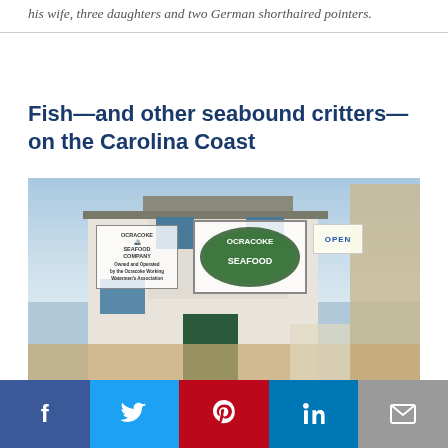his wife, three daughters and two German shorthaired pointers.
Fish—and other seabound critters—on the Carolina Coast
[Figure (photo): Exterior photo of the Ocracoke Seafood Company building, a white two-story structure with signs for Ocracoke Seafood Company, wooden decking and railings, an OPEN sign, and lattice fence area.]
Social share buttons: Facebook, Twitter, Pinterest, LinkedIn, Email